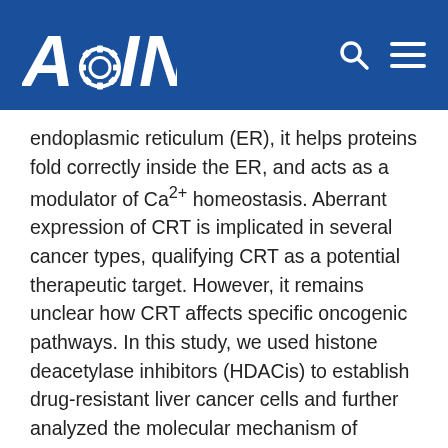[Figure (logo): AGING journal logo — white stylized letters on dark blue header bar, with search and menu icons on the right]
endoplasmic reticulum (ER), it helps proteins fold correctly inside the ER, and acts as a modulator of Ca2+ homeostasis. Aberrant expression of CRT is implicated in several cancer types, qualifying CRT as a potential therapeutic target. However, it remains unclear how CRT affects specific oncogenic pathways. In this study, we used histone deacetylase inhibitors (HDACis) to establish drug-resistant liver cancer cells and further analyzed the molecular mechanism of development of drug resistance in those cells. The 2D gel electrophoresis and RT-PCR data showed that CRT was downregulated in HDACis-resistant cells by comparing with HA22T parental cells. We previously elucidated the development of